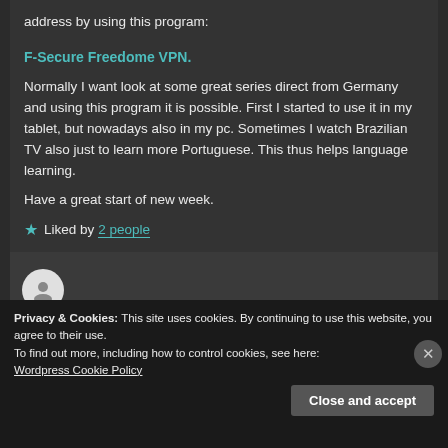address by using this program:
F-Secure Freedome VPN.
Normally I want look at some great series direct from Germany and using this program it is possible. First I started to use it in my tablet, but nowadays also in my pc. Sometimes I watch Brazilian TV also just to learn more Portuguese. This thus helps language learning.
Have a great start of new week.
★ Liked by 2 people
[Figure (illustration): Avatar/profile icon circle with a person silhouette]
Privacy & Cookies: This site uses cookies. By continuing to use this website, you agree to their use.
To find out more, including how to control cookies, see here: Wordpress Cookie Policy
Close and accept